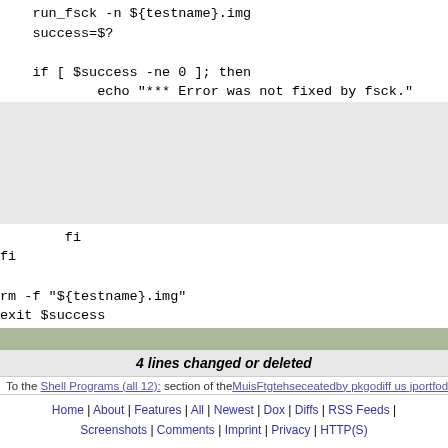run_fsck -n ${testname}.img
    success=$?

    if [ $success -ne 0 ]; then
            echo "*** Error was not fixed by fsck."
        fi
fi

rm -f "${testname}.img"
exit $success
4 lines changed or deleted
To the Shell Programs (all 12): section of the MuisFtgtehseceatedby pkgodiff us jportfodiffe
Home | About | Features | All | Newest | Dox | Diffs | RSS Feeds | Screenshots | Comments | Imprint | Privacy | HTTP(S)